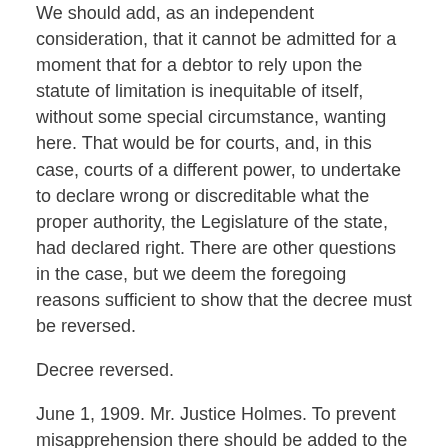We should add, as an independent consideration, that it cannot be admitted for a moment that for a debtor to rely upon the statute of limitation is inequitable of itself, without some special circumstance, wanting here. That would be for courts, and, in this case, courts of a different power, to undertake to declare wrong or discreditable what the proper authority, the Legislature of the state, had declared right. There are other questions in the case, but we deem the foregoing reasons sufficient to show that the decree must be reversed.
Decree reversed.
June 1, 1909. Mr. Justice Holmes. To prevent misapprehension there should be added to the opinion at the end the following words:
We have considered only the question of the foreclosure on the cross- bill. The case will be remanded to the Circuit Court